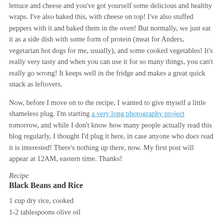lettuce and cheese and you've got yourself some delicious and healthy wraps. I've also baked this, with cheese on top! I've also stuffed peppers with it and baked them in the oven! But normally, we just eat it as a side dish with some form of protein (meat for Anders, vegetarian hot dogs for me, usually), and some cooked vegetables! It's really very tasty and when you can use it for so many things, you can't really go wrong! It keeps well in the fridge and makes a great quick snack as leftovers.
Now, before I move on to the recipe, I wanted to give myself a little shameless plug. I'm starting a very long photography project tomorrow, and while I don't know how many people actually read this blog regularly, I thought I'd plug it here, in case anyone who does read it is interested! There's nothing up there, now. My first post will appear at 12AM, eastern time. Thanks!
Recipe
Black Beans and Rice
1 cup dry rice, cooked
1-2 tablespoons olive oil